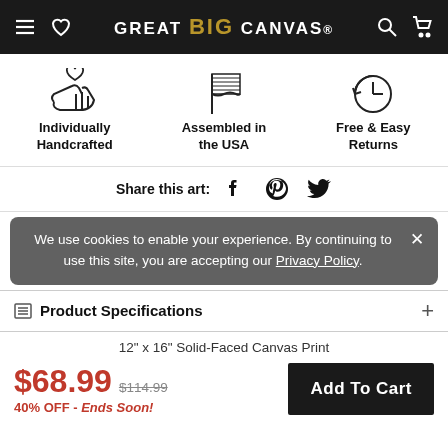GREAT BIG CANVAS
[Figure (illustration): Three feature icons: hand with heart (Individually Handcrafted), US flag (Assembled in the USA), clock with arrow (Free & Easy Returns)]
Share this art:
[Figure (illustration): Social media share icons: Facebook, Pinterest, Twitter]
We use cookies to enable your experience. By continuing to use this site, you are accepting our Privacy Policy.
Product Specifications
12" x 16" Solid-Faced Canvas Print
$68.99  $114.99  40% OFF - Ends Soon!